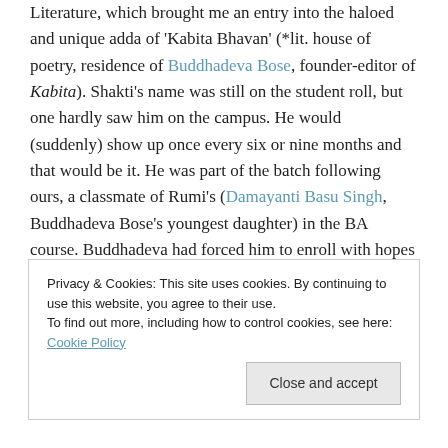Literature, which brought me an entry into the haloed and unique adda of 'Kabita Bhavan' (*lit. house of poetry, residence of Buddhadeva Bose, founder-editor of Kabita). Shakti's name was still on the student roll, but one hardly saw him on the campus. He would (suddenly) show up once every six or nine months and that would be it. He was part of the batch following ours, a classmate of Rumi's (Damayanti Basu Singh, Buddhadeva Bose's youngest daughter) in the BA course. Buddhadeva had forced him to enroll with hopes of making him return to the mainstream. By
Privacy & Cookies: This site uses cookies. By continuing to use this website, you agree to their use. To find out more, including how to control cookies, see here: Cookie Policy
Close and accept